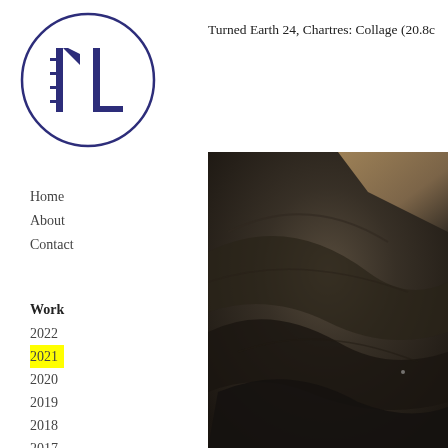[Figure (logo): Circular logo with dark blue/navy border containing stylized letters ML or similar geometric letterforms in dark blue]
Turned Earth 24, Chartres: Collage (20.8c
Home
About
Contact
Work
2022
2021
2020
2019
2018
2017
2016
2015
[Figure (photo): Close-up photograph of dark textured surface, possibly turned earth or stone, with curved forms and a lighter triangular area in the upper portion, very dark tones overall]